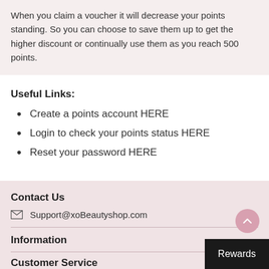When you claim a voucher it will decrease your points standing. So you can choose to save them up to get the higher discount or continually use them as you reach 500 points.
Useful Links:
Create a points account HERE
Login to check your points status HERE
Reset your password HERE
Contact Us
Support@xoBeautyshop.com
Information
Customer Service